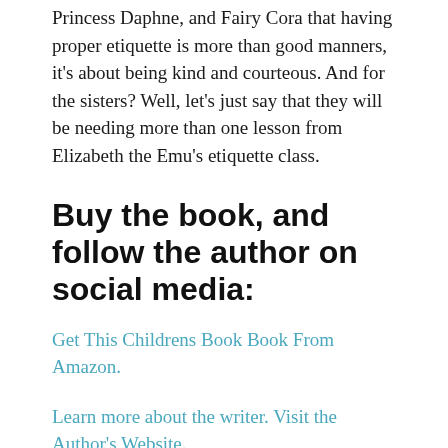Princess Daphne, and Fairy Cora that having proper etiquette is more than good manners, it's about being kind and courteous. And for the sisters? Well, let's just say that they will be needing more than one lesson from Elizabeth the Emu's etiquette class.
Buy the book, and follow the author on social media:
Get This Childrens Book Book From Amazon.
Learn more about the writer. Visit the Author's Website.
Visit the Author's Facebook Fan Page.
Author Bio: